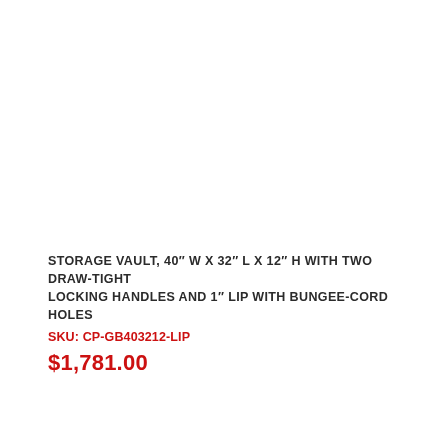STORAGE VAULT, 40" W X 32" L X 12" H WITH TWO DRAW-TIGHT LOCKING HANDLES AND 1" LIP WITH BUNGEE-CORD HOLES
SKU: CP-GB403212-LIP
$1,781.00